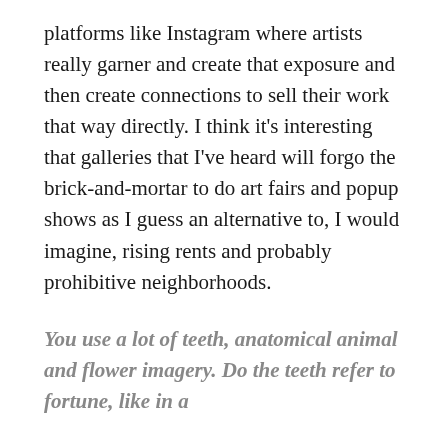platforms like Instagram where artists really garner and create that exposure and then create connections to sell their work that way directly. I think it's interesting that galleries that I've heard will forgo the brick-and-mortar to do art fairs and popup shows as I guess an alternative to, I would imagine, rising rents and probably prohibitive neighborhoods.
You use a lot of teeth, anatomical animal and flower imagery. Do the teeth refer to fortune, like in a